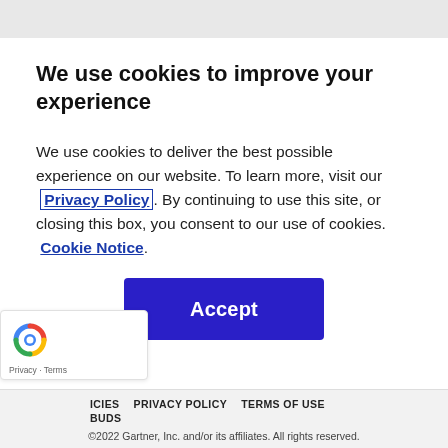We use cookies to improve your experience
We use cookies to deliver the best possible experience on our website. To learn more, visit our  Privacy Policy. By continuing to use this site, or closing this box, you consent to our use of cookies.  Cookie Notice.
Accept
ICIES   PRIVACY POLICY   TERMS OF USE
BUDS
©2022 Gartner, Inc. and/or its affiliates. All rights reserved.